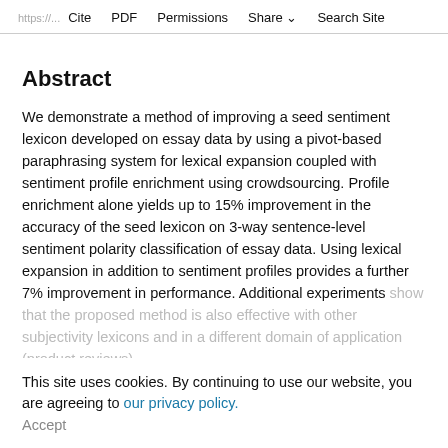https://... Cite PDF Permissions Share Search Site
Abstract
We demonstrate a method of improving a seed sentiment lexicon developed on essay data by using a pivot-based paraphrasing system for lexical expansion coupled with sentiment profile enrichment using crowdsourcing. Profile enrichment alone yields up to 15% improvement in the accuracy of the seed lexicon on 3-way sentence-level sentiment polarity classification of essay data. Using lexical expansion in addition to sentiment profiles provides a further 7% improvement in performance. Additional experiments show that the proposed method is also effective with other subjectivity lexicons and in a different domain of application (product reviews).
This site uses cookies. By continuing to use our website, you are agreeing to our privacy policy. Accept